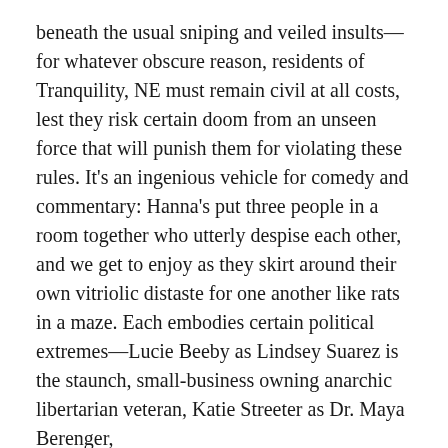beneath the usual sniping and veiled insults—for whatever obscure reason, residents of Tranquility, NE must remain civil at all costs, lest they risk certain doom from an unseen force that will punish them for violating these rules. It's an ingenious vehicle for comedy and commentary: Hanna's put three people in a room together who utterly despise each other, and we get to enjoy as they skirt around their own vitriolic distaste for one another like rats in a maze. Each embodies certain political extremes—Lucie Beeby as Lindsey Suarez is the staunch, small-business owning anarchic libertarian veteran, Katie Streeter as Dr. Maya Berenger, actress/lesbian/progressive/intellectual/weekday vegan Millenial, and of course Jim Hanna as acting mayor Scott Jensen, the average Joe Republican who can barely suppress his eye rolling at the other two's political bombast. (For additional entertainment, it's well worth taking a look at the show's page for linked